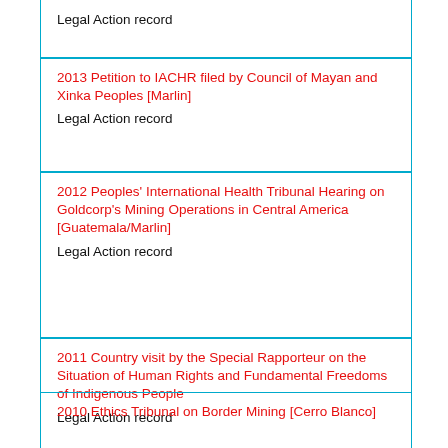Legal Action record
2013 Petition to IACHR filed by Council of Mayan and Xinka Peoples [Marlin]
Legal Action record
2012 Peoples' International Health Tribunal Hearing on Goldcorp's Mining Operations in Central America [Guatemala/Marlin]
Legal Action record
2011 Country visit by the Special Rapporteur on the Situation of Human Rights and Fundamental Freedoms of Indigenous People
Legal Action record
2010 Ethics Tribunal on Border Mining [Cerro Blanco]